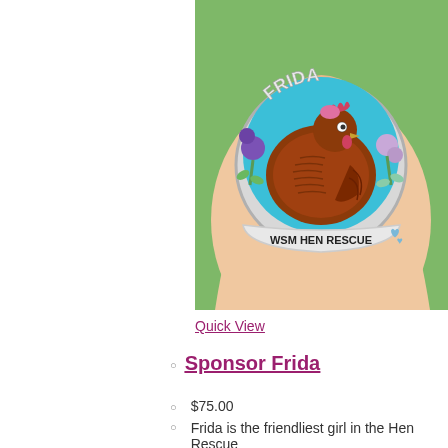[Figure (photo): A hand holding a circular enamel pin featuring a brown hen/chicken in the center, with flowers and leaves decorating the border, text reading 'FRIDA' at the top and 'WSM HEN RESCUE' on a banner at the bottom, set against a teal/turquoise background. The pin is photographed outdoors against green grass.]
Quick View
Sponsor Frida
$75.00
Frida is the friendliest girl in the Hen Rescue